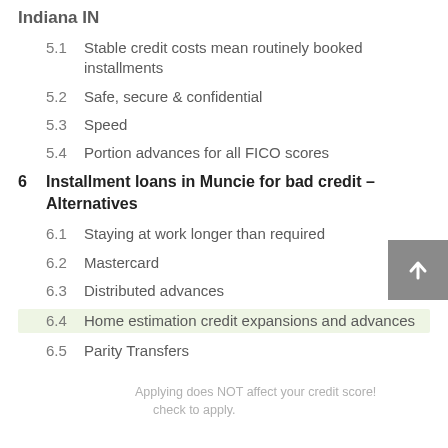Indiana IN
5.1  Stable credit costs mean routinely booked installments
5.2  Safe, secure & confidential
5.3  Speed
5.4  Portion advances for all FICO scores
6  Installment loans in Muncie for bad credit – Alternatives
6.1  Staying at work longer than required
6.2  Mastercard
6.3  Distributed advances
6.4  Home estimation credit expansions and advances
6.5  Parity Transfers
Applying does NOT affect your credit score! check to apply.